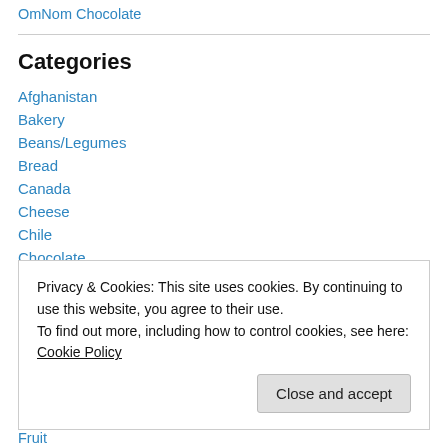OmNom Chocolate
Categories
Afghanistan
Bakery
Beans/Legumes
Bread
Canada
Cheese
Chile
Chocolate
Privacy & Cookies: This site uses cookies. By continuing to use this website, you agree to their use.
To find out more, including how to control cookies, see here: Cookie Policy
Fruit